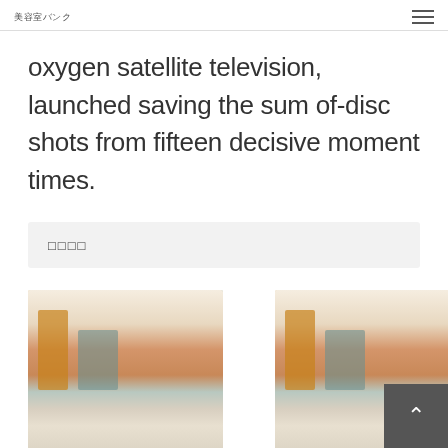美容室バンク
oxygen satellite television, launched saving the sum of-disc shots from fifteen decisive moment times.
□□□□
[Figure (photo): Interior of a hair salon with orange and white styling stations]
□□□□□□□□□□　□□□
□□□□□
[Figure (photo): Interior of a hair salon with orange and white styling stations]
□□□□□□□□□□　□□□
□□